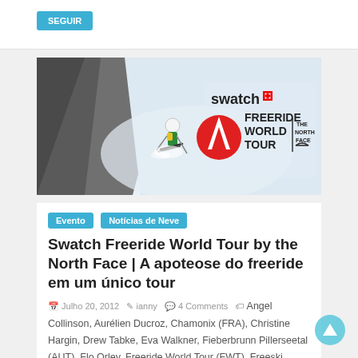[Figure (other): Blue button/pill UI element at top of page]
[Figure (photo): Swatch Freeride World Tour by The North Face banner image — skier descending a steep snowy mountain face with the Swatch Freeride World Tour and The North Face logos on the right side]
Evento
Notícias de Neve
Swatch Freeride World Tour by the North Face | A apoteose do freeride em um único tour
Julho 20, 2012   ianny   4 Comments   Angel Collinson, Aurélien Ducroz, Chamonix (FRA), Christine Hargin, Drew Tabke, Eva Walkner, Fieberbrunn Pillerseetal (AUT), Flo Orley, Freeride World Tour (FWT), Freeski, Jonathan Charlet,